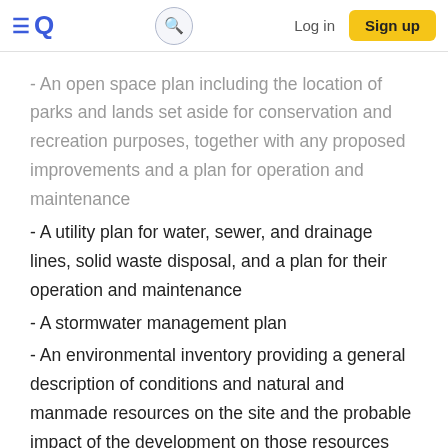≡Q  [search]  Log in  Sign up
- An open space plan including the location of parks and lands set aside for conservation and recreation purposes, together with any proposed improvements and a plan for operation and maintenance
- A utility plan for water, sewer, and drainage lines, solid waste disposal, and a plan for their operation and maintenance
- A stormwater management plan
- An environmental inventory providing a general description of conditions and natural and manmade resources on the site and the probable impact of the development on those resources
- A community facility plan describing public and quasi-public uses associates with the